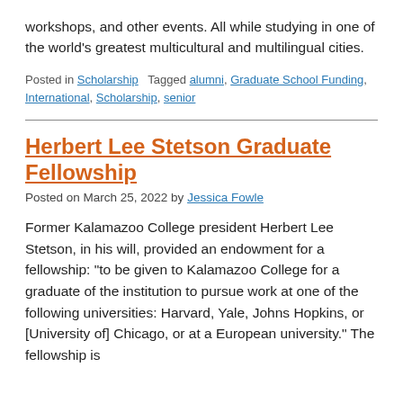workshops, and other events. All while studying in one of the world's greatest multicultural and multilingual cities.
Posted in Scholarship   Tagged alumni, Graduate School Funding, International, Scholarship, senior
Herbert Lee Stetson Graduate Fellowship
Posted on March 25, 2022 by Jessica Fowle
Former Kalamazoo College president Herbert Lee Stetson, in his will, provided an endowment for a fellowship: “to be given to Kalamazoo College for a graduate of the institution to pursue work at one of the following universities: Harvard, Yale, Johns Hopkins, or [University of] Chicago, or at a European university.” The fellowship is